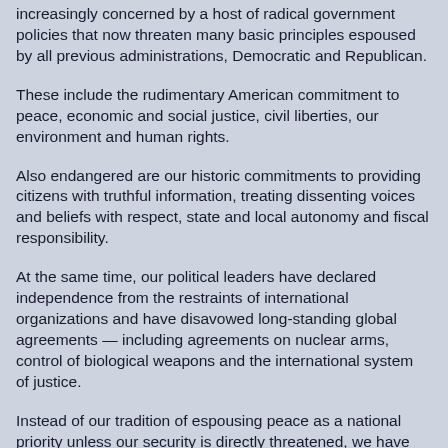increasingly concerned by a host of radical government policies that now threaten many basic principles espoused by all previous administrations, Democratic and Republican.
These include the rudimentary American commitment to peace, economic and social justice, civil liberties, our environment and human rights.
Also endangered are our historic commitments to providing citizens with truthful information, treating dissenting voices and beliefs with respect, state and local autonomy and fiscal responsibility.
At the same time, our political leaders have declared independence from the restraints of international organizations and have disavowed long-standing global agreements — including agreements on nuclear arms, control of biological weapons and the international system of justice.
Instead of our tradition of espousing peace as a national priority unless our security is directly threatened, we have proclaimed a policy of "preemptive war," an unabridged right to attack other nations unilaterally to change an